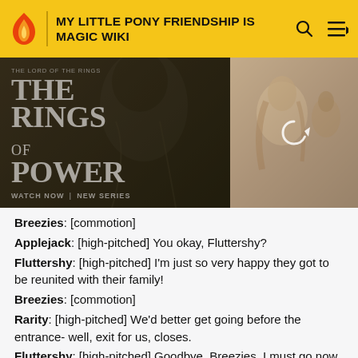MY LITTLE PONY FRIENDSHIP IS MAGIC WIKI
[Figure (photo): Advertisement banner for 'The Lord of the Rings: The Rings of Power' on Amazon Prime Video. Left side shows a hooded figure with text 'THE LORD OF THE RINGS THE RINGS OF POWER WATCH NOW | NEW SERIES'. Right side shows a blonde woman with a reload/refresh icon overlay.]
Breezies: [commotion]
Applejack: [high-pitched] You okay, Fluttershy?
Fluttershy: [high-pitched] I'm just so very happy they got to be reunited with their family!
Breezies: [commotion]
Rarity: [high-pitched] We'd better get going before the entrance- well, exit for us, closes.
Fluttershy: [high-pitched] Goodbye, Breezies. I must go now.
Seabreeze: To remember us by.